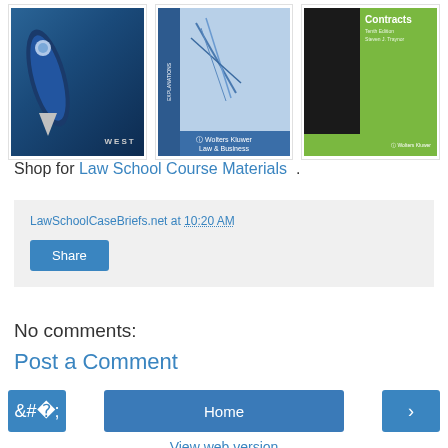[Figure (photo): Three law school textbook covers: a West publisher book with fountain pen, an Explanations series book with blue cover, and a Contracts tenth edition book with green and black cover]
Shop for Law School Course Materials .
LawSchoolCaseBriefs.net at 10:20 AM
Share
No comments:
Post a Comment
‹
Home
›
View web version
Powered by Blogger.